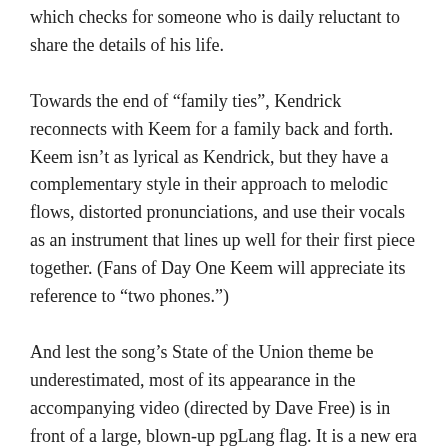which checks for someone who is daily reluctant to share the details of his life.
Towards the end of “family ties”, Kendrick reconnects with Keem for a family back and forth. Keem isn’t as lyrical as Kendrick, but they have a complementary style in their approach to melodic flows, distorted pronunciations, and use their vocals as an instrument that lines up well for their first piece together. (Fans of Day One Keem will appreciate its reference to “two phones.”)
And lest the song’s State of the Union theme be underestimated, most of its appearance in the accompanying video (directed by Dave Free) is in front of a large, blown-up pgLang flag. It is a new era indeed. But don’t expect a full Kendrick album just yet. Lamar wrote his note very carefully to say that he is still working on the new project. Also, if pgLang is banking its launch on positioning Baby Keem as the future, it would make sense to give Keem a full run around the time...